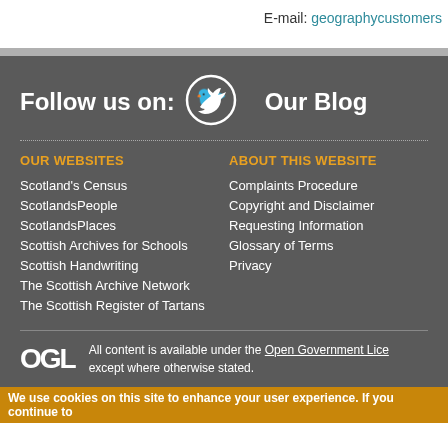E-mail: geographycustomers
Follow us on:   Our Blog
OUR WEBSITES
ABOUT THIS WEBSITE
Scotland's Census
ScotlandsPeople
ScotlandsPlaces
Scottish Archives for Schools
Scottish Handwriting
The Scottish Archive Network
The Scottish Register of Tartans
Complaints Procedure
Copyright and Disclaimer
Requesting Information
Glossary of Terms
Privacy
All content is available under the Open Government Licence except where otherwise stated.
We use cookies on this site to enhance your user experience. If you continue to